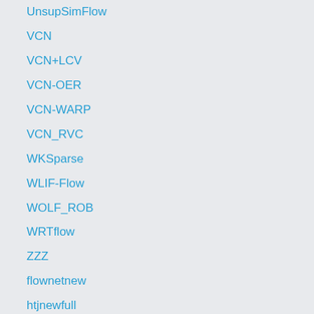UnsupSimFlow
VCN
VCN+LCV
VCN-OER
VCN-WARP
VCN_RVC
WKSparse
WLIF-Flow
WOLF_ROB
WRTflow
ZZZ
flownetnew
htjnewfull
htjwarp2
less_iteration
mask
metaFlow
pwc_xx
raft-jm